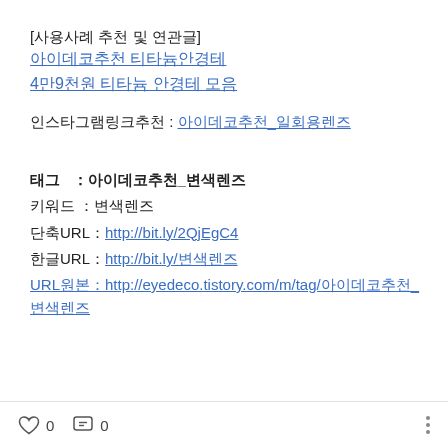[사용사례 추천 및 연관글]
아이데코추천 티타늄안경테
4만9천원 티타늄 안경테 모음
인스타그램링크추천 : 아이데코추천_일회용렌즈
태그　：아이데코추천_변색렌즈
키워드　：변색렌즈
단축URL：http://bit.ly/2QjEgC4
한글URL：http://bit.ly/변색렌즈
URL원본：http://eyedeco.tistory.com/m/tag/아이데코추천_변색렌즈
♡ 0   💬 0